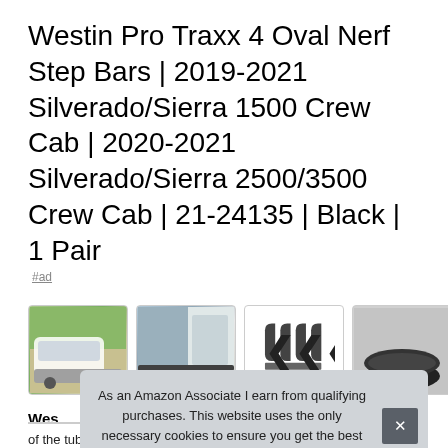Westin Pro Traxx 4 Oval Nerf Step Bars | 2019-2021 Silverado/Sierra 1500 Crew Cab | 2020-2021 Silverado/Sierra 2500/3500 Crew Cab | 21-24135 | Black | 1 Pair
#ad
[Figure (photo): Four product thumbnail images showing: 1) white truck with step bars installed, 2) close-up of door/step area on truck, 3) bracket hardware parts, 4) black oval step bar cross-section]
Wes
of the tube. Fit type: Vehicle Specific. Fully welded domed
As an Amazon Associate I earn from qualifying purchases. This website uses the only necessary cookies to ensure you get the best experience on our website. More information